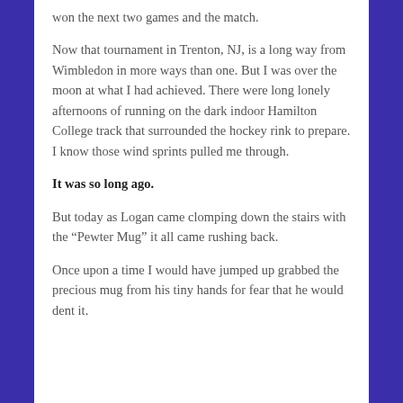won the next two games and the match.
Now that tournament in Trenton, NJ, is a long way from Wimbledon in more ways than one. But I was over the moon at what I had achieved. There were long lonely afternoons of running on the dark indoor Hamilton College track that surrounded the hockey rink to prepare. I know those wind sprints pulled me through.
It was so long ago.
But today as Logan came clomping down the stairs with the “Pewter Mug” it all came rushing back.
Once upon a time I would have jumped up grabbed the precious mug from his tiny hands for fear that he would dent it.